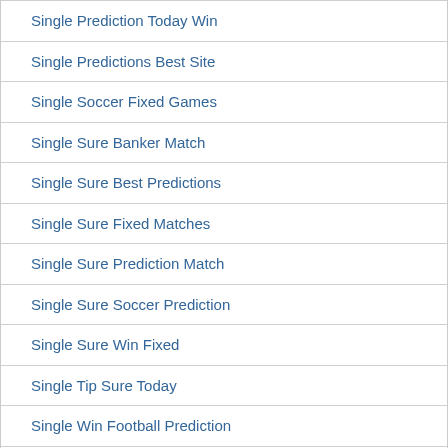Single Prediction Today Win
Single Predictions Best Site
Single Soccer Fixed Games
Single Sure Banker Match
Single Sure Best Predictions
Single Sure Fixed Matches
Single Sure Prediction Match
Single Sure Soccer Prediction
Single Sure Win Fixed
Single Tip Sure Today
Single Win Football Prediction
Smart Football Fixed Matches
Smart Football Prediction Today
Smart Prediction Today Free
Smart Tips 1x2 Tomorrow